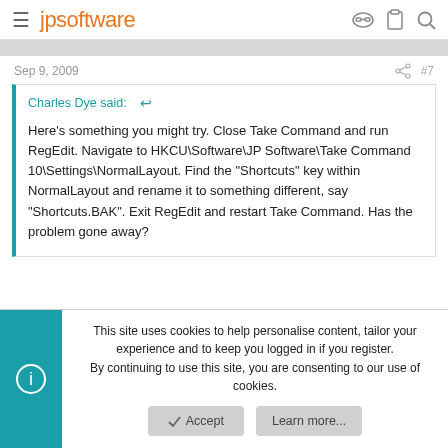jpsoftware
Sep 9, 2009  #7
Charles Dye said: ↩

Here's something you might try. Close Take Command and run RegEdit. Navigate to HKCU\Software\JP Software\Take Command 10\Settings\NormalLayout. Find the "Shortcuts" key within NormalLayout and rename it to something different, say "Shortcuts.BAK". Exit RegEdit and restart Take Command. Has the problem gone away?
This site uses cookies to help personalise content, tailor your experience and to keep you logged in if you register.
By continuing to use this site, you are consenting to our use of cookies.